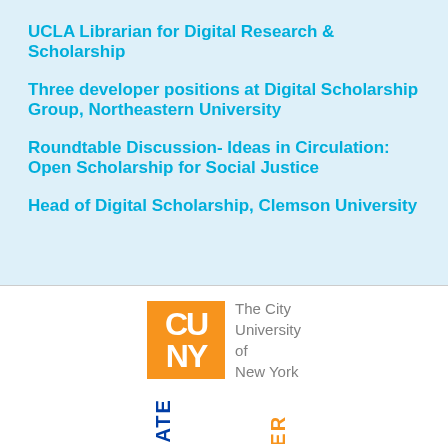UCLA Librarian for Digital Research & Scholarship
Three developer positions at Digital Scholarship Group, Northeastern University
Roundtable Discussion- Ideas in Circulation: Open Scholarship for Social Justice
Head of Digital Scholarship, Clemson University
[Figure (logo): CUNY - The City University of New York logo with orange square containing CU/NY letters and gray text]
[Figure (logo): Graduate Center logo text rotated vertically, partially visible at bottom]